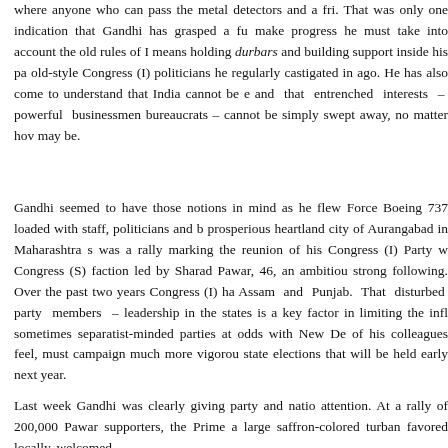where anyone who can pass the metal detectors and a fri. That was only one indication that Gandhi has grasped a fu make progress he must take into account the old rules of I means holding durbars and building support inside his pa old-style Congress (I) politicians he regularly castigated in ago. He has also come to understand that India cannot be and that entrenched interests – powerful businessmen bureaucrats – cannot be simply swept away, no matter ho may be.
Gandhi seemed to have those notions in mind as he fle Force Boeing 737 loaded with staff, politicians and b prosperious heartland city of Aurangabad in Maharashtra s was a rally marking the reunion of his Congress (I) Party Congress (S) faction led by Sharad Pawar, 46, an ambitio strong following. Over the past two years Congress (I) h Assam and Punjab. That disturbed party members leadership in the states is a key factor in limiting the in sometimes separatist-minded parties at odds with New D of his colleagues feel, must campaign much more vigoro state elections that will be held early next year.
Last week Gandhi was clearly giving party and nati attention. At a rally of 200,000 Pawar supporters, the Prim a large saffron-colored turban favored locally, welcomed